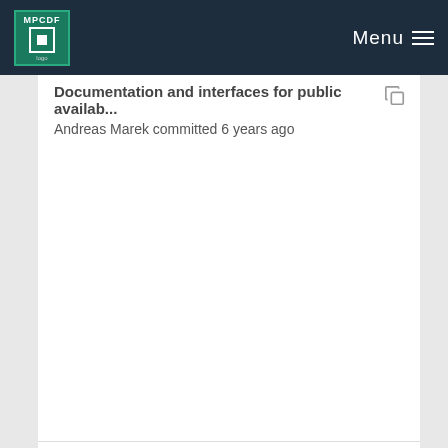MPCDF Menu
Documentation and interfaces for public availab... 
Andreas Marek committed 6 years ago
Better way to set only auxiliary functions public
Andreas Marek committed 6 years ago
Cleanup of configure.ac ELPA_2013.11; Create ELPA...
Andreas Marek committed 8 years ago
Fix module precision problem